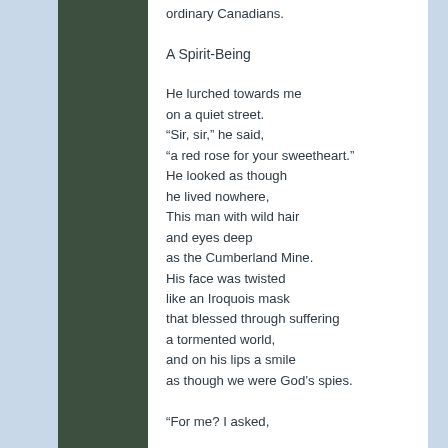ordinary Canadians.
A Spirit-Being
He lurched towards me
on a quiet street.
“Sir, sir,” he said,
“a red rose for your sweetheart.”
He looked as though
he lived nowhere,
This man with wild hair
and eyes deep
as the Cumberland Mine.
His face was twisted
like an Iroquois mask
that blessed through suffering
a tormented world,
and on his lips a smile
as though we were God’s spies.
“For me? I asked,